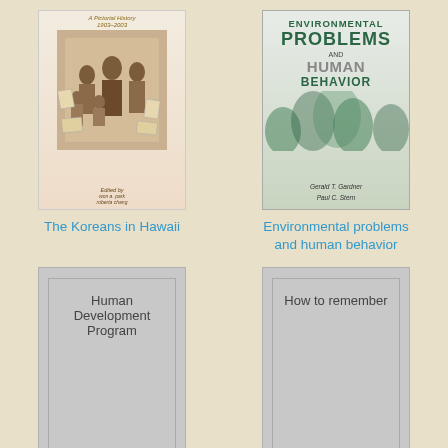[Figure (illustration): Book cover of 'The Koreans in Hawaii' - a pictorial history 1903-2003, showing a black and white photo of a family group]
The Koreans in Hawaii
[Figure (illustration): Book cover of 'Environmental Problems and Human Behavior' by Gerald T. Gardner and Paul C. Stern, with green and gray design]
Environmental problems and human behavior
[Figure (illustration): Placeholder book cover for 'Human Development Program' - gray rectangle with inner border]
Human Development Program
[Figure (illustration): Placeholder book cover for 'How to remember' - gray rectangle with inner border]
How to remember